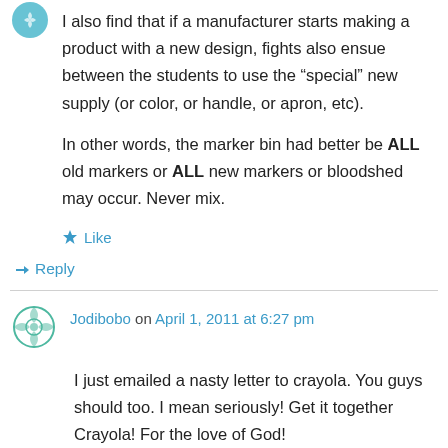I also find that if a manufacturer starts making a product with a new design, fights also ensue between the students to use the “special” new supply (or color, or handle, or apron, etc).
In other words, the marker bin had better be ALL old markers or ALL new markers or bloodshed may occur. Never mix.
★ Like
↳ Reply
Jodibobo on April 1, 2011 at 6:27 pm
I just emailed a nasty letter to crayola. You guys should too. I mean seriously! Get it together Crayola! For the love of God!